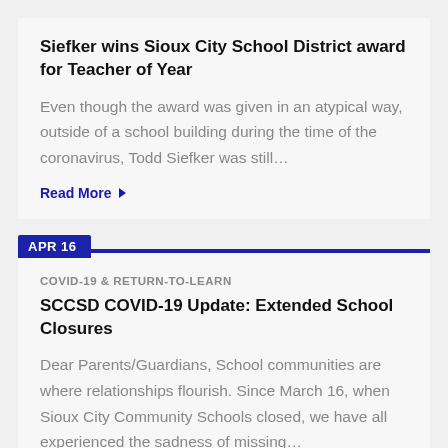Siefker wins Sioux City School District award for Teacher of Year
Even though the award was given in an atypical way, outside of a school building during the time of the coronavirus, Todd Siefker was still…
Read More ▶
APR 16
COVID-19 & RETURN-TO-LEARN
SCCSD COVID-19 Update: Extended School Closures
Dear Parents/Guardians, School communities are where relationships flourish. Since March 16, when Sioux City Community Schools closed, we have all experienced the sadness of missing…